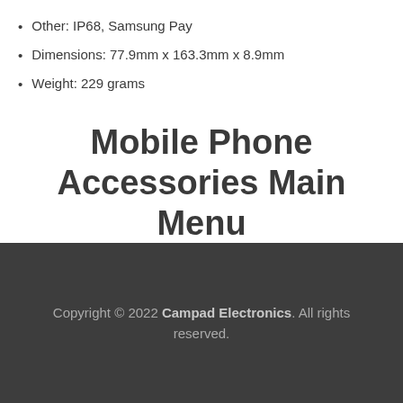Other: IP68, Samsung Pay
Dimensions: 77.9mm x 163.3mm x 8.9mm
Weight: 229 grams
Mobile Phone Accessories Main Menu
Copyright © 2022 Campad Electronics. All rights reserved.